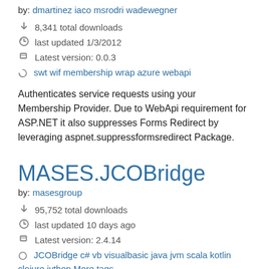by: dmartinez iaco msrodri wadewegner
8,341 total downloads
last updated 1/3/2012
Latest version: 0.0.3
swt wif membership wrap azure webapi
Authenticates service requests using your Membership Provider. Due to WebApi requirement for ASP.NET it also suppresses Forms Redirect by leveraging aspnet.suppressformsredirect Package.
MASES.JCOBridge
by: masesgroup
95,752 total downloads
last updated 10 days ago
Latest version: 2.4.14
JCOBridge c# vb visualbasic java jvm scala kotlin clojure jython More tags
The package contains all libraries and resources to bridge together .NET CLR (Core/Framework) and JVM (Java). All